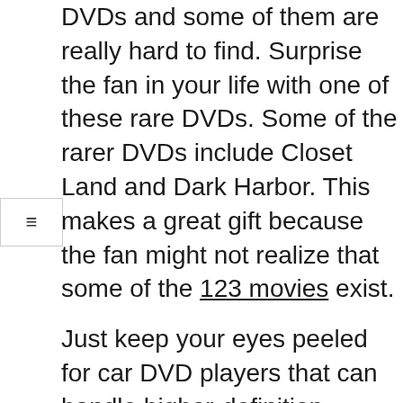DVDs and some of them are really hard to find. Surprise the fan in your life with one of these rare DVDs. Some of the rarer DVDs include Closet Land and Dark Harbor. This makes a great gift because the fan might not realize that some of the 123 movies exist.
Just keep your eyes peeled for car DVD players that can handle higher-definition 1080p videos. Once those start to come out, you can bet that Blu-ray players are going to be right on their heels as well.
Performance is going to be key. To test if the device you're considering is up to the task, on the demo unit in the store go to the Android Market and download an app called "Quadrant Standard". Run the test and see where it stacks up against popular